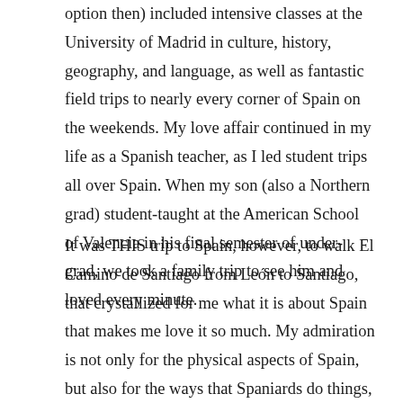option then) included intensive classes at the University of Madrid in culture, history, geography, and language, as well as fantastic field trips to nearly every corner of Spain on the weekends. My love affair continued in my life as a Spanish teacher, as I led student trips all over Spain. When my son (also a Northern grad) student-taught at the American School of Valencia in his final semester of under-grad, we took a family trip to see him and loved every minute.
It was THIS trip to Spain, however, to walk El Camino de Santiago from León to Santiago, that crystallized for me what it is about Spain that makes me love it so much. My admiration is not only for the physical aspects of Spain, but also for the ways that Spaniards do things, how they live, and the sense of community that